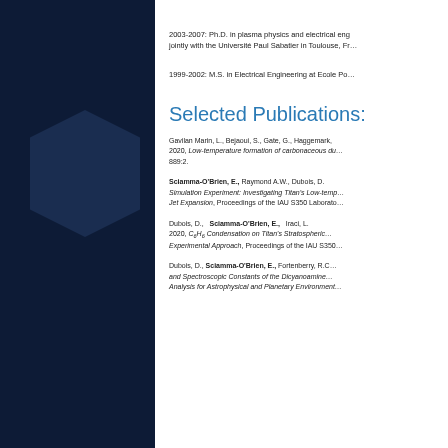[Figure (illustration): Dark navy blue left panel with a hexagon shape in a slightly lighter navy/dark blue color]
2003-2007: Ph.D. in plasma physics and electrical eng… jointly with the Université Paul Sabatier in Toulouse, Fr…
1999-2002: M.S. in Electrical Engineering at Ecole Po…
Selected Publications:
Gavilan Marin, L., Bejaoui, S., Gate, G., Haggemark,… 2020, Low-temperature formation of carbonaceous du… 889:2.
Sciamma-O'Brien, E., Raymond A.W., Dubois, D.… Simulation Experiment: Investigating Titan's Low-temp… Jet Expansion, Proceedings of the IAU S350 Laborato…
Dubois, D., Sciamma-O'Brien, E., Iraci, L.… 2020, C6H6 Condensation on Titan's Stratospheric… Experimental Approach, Proceedings of the IAU S350…
Dubois, D., Sciamma-O'Brien, E., Fortenberry, R.C.… and Spectroscopic Constants of the Dicyanoamine… Analysis for Astrophysical and Planetary Environment…